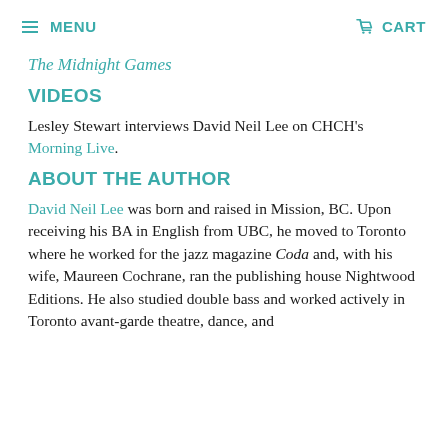MENU   CART
The Midnight Games
VIDEOS
Lesley Stewart interviews David Neil Lee on CHCH's Morning Live.
ABOUT THE AUTHOR
David Neil Lee was born and raised in Mission, BC. Upon receiving his BA in English from UBC, he moved to Toronto where he worked for the jazz magazine Coda and, with his wife, Maureen Cochrane, ran the publishing house Nightwood Editions. He also studied double bass and worked actively in Toronto avant-garde theatre, dance, and